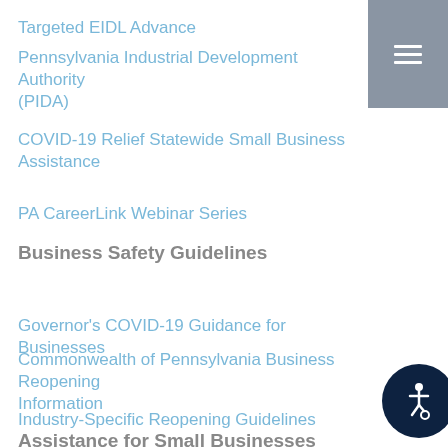Targeted EIDL Advance
Pennsylvania Industrial Development Authority (PIDA)
COVID-19 Relief Statewide Small Business Assistance
PA CareerLink Webinar Series
Business Safety Guidelines
Governor's COVID-19 Guidance for Businesses
Commonwealth of Pennsylvania Business Reopening Information
Industry-Specific Reopening Guidelines
Assistance for Small Businesses
[Figure (other): Hamburger menu button with three white horizontal lines on a grey-blue background, top right corner]
[Figure (other): Accessibility icon (wheelchair symbol) in white on dark navy circle, bottom right corner]